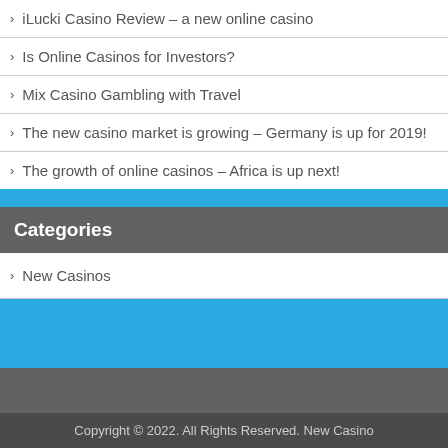iLucki Casino Review – a new online casino
Is Online Casinos for Investors?
Mix Casino Gambling with Travel
The new casino market is growing – Germany is up for 2019!
The growth of online casinos – Africa is up next!
Categories
New Casinos
Copyright © 2022. All Rights Reserved. New Casino